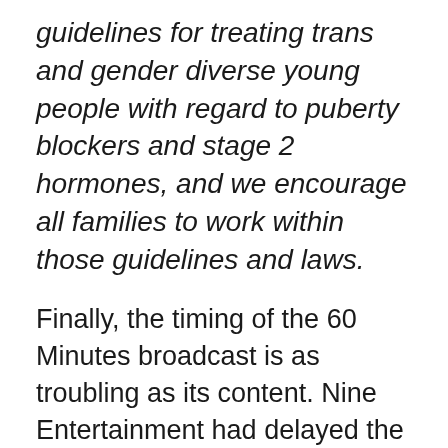guidelines for treating trans and gender diverse young people with regard to puberty blockers and stage 2 hormones, and we encourage all families to work within those guidelines and laws.
Finally, the timing of the 60 Minutes broadcast is as troubling as its content. Nine Entertainment had delayed the broadcast from it's initial date of September 3 to the following Sunday, the 10th. This delay coincided with an Australian High Court decision on September 5 to dismiss legal challenges to a national referendum on Australian marriage equality. The national postal vote, which has energized anti-LGBTQ political extremism, is expected to proceed this week, just days after this inflammatory and misleading 60 Minutes broadcast. If Nine Entertainment had intended to influence the marriage equality vote, their timing could not have been more convenient.